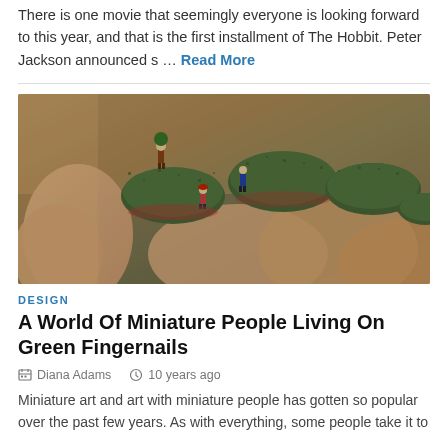There is one movie that seemingly everyone is looking forward to this year, and that is the first installment of The Hobbit. Peter Jackson announced s ... Read More
[Figure (photo): Close-up photo of a hand with green fuzzy/mossy fingernails, with tiny miniature figurines of people placed on the nails as if living in a miniature world.]
DESIGN
A World Of Miniature People Living On Green Fingernails
Diana Adams   10 years ago
Miniature art and art with miniature people has gotten so popular over the past few years. As with everything, some people take it to